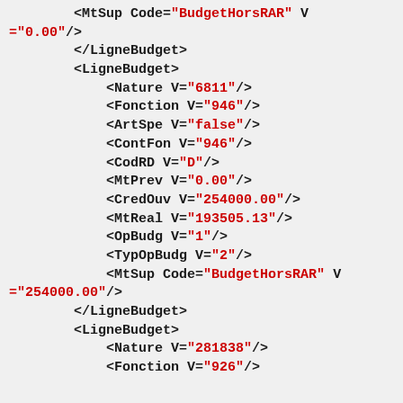XML code snippet showing LigneBudget elements with child tags: MtSup Code="BudgetHorsRAR" V="0.00"/>, </LigneBudget>, <LigneBudget>, <Nature V="6811"/>, <Fonction V="946"/>, <ArtSpe V="false"/>, <ContFon V="946"/>, <CodRD V="D"/>, <MtPrev V="0.00"/>, <CredOuv V="254000.00"/>, <MtReal V="193505.13"/>, <OpBudg V="1"/>, <TypOpBudg V="2"/>, <MtSup Code="BudgetHorsRAR" V="254000.00"/>, </LigneBudget>, <LigneBudget>, <Nature V="281838"/>, <Fonction V="926"/>